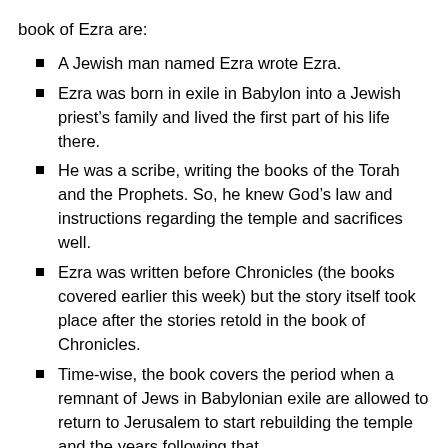book of Ezra are:
A Jewish man named Ezra wrote Ezra.
Ezra was born in exile in Babylon into a Jewish priest’s family and lived the first part of his life there.
He was a scribe, writing the books of the Torah and the Prophets. So, he knew God’s law and instructions regarding the temple and sacrifices well.
Ezra was written before Chronicles (the books covered earlier this week) but the story itself took place after the stories retold in the book of Chronicles.
Time-wise, the book covers the period when a remnant of Jews in Babylonian exile are allowed to return to Jerusalem to start rebuilding the temple and the years following that.
Ezra means “help” or “helper” in Hebrew.